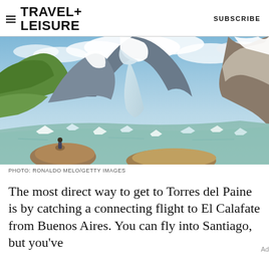TRAVEL+ LEISURE    SUBSCRIBE
[Figure (photo): A person sitting on a rock at a glacial lake with icebergs, surrounded by mountains and a glacier in Patagonia, Torres del Paine area. Snow-capped peaks and green slopes visible in background.]
PHOTO: RONALDO MELO/GETTY IMAGES
The most direct way to get to Torres del Paine is by catching a connecting flight to El Calafate from Buenos Aires. You can fly into Santiago, but you've